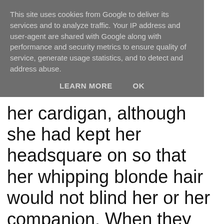This site uses cookies from Google to deliver its services and to analyze traffic. Your IP address and user-agent are shared with Google along with performance and security metrics to ensure quality of service, generate usage statistics, and to detect and address abuse.
LEARN MORE   OK
her cardigan, although she had kept her headsquare on so that her whipping blonde hair would not blind her or her companion. When they sat together she felt even closer to him, almost skin against skin. She traced the contours of his flesh through his cotton shirt with her fingers, pretending to brush away dust from his tensed